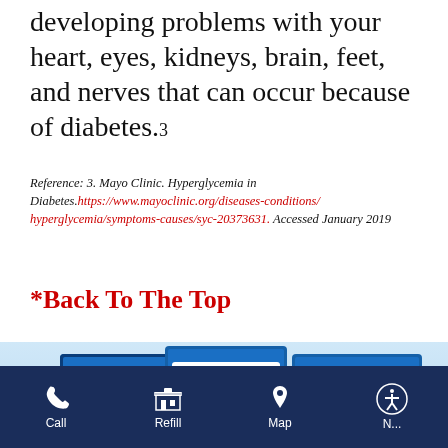developing problems with your heart, eyes, kidneys, brain, feet, and nerves that can occur because of diabetes.₃
Reference: 3. Mayo Clinic. Hyperglycemia in Diabetes. https://www.mayoclinic.org/diseases-conditions/hyperglycemia/symptoms-causes/syc-20373631. Accessed January 2019
*Back To The Top
[Figure (photo): Three Contour Next blood glucose monitoring system product boxes: Contour next EZ, Contour next ONE, and Contour next, each showing the device with a reading of 93]
Call | Refill | Map | Accessibility